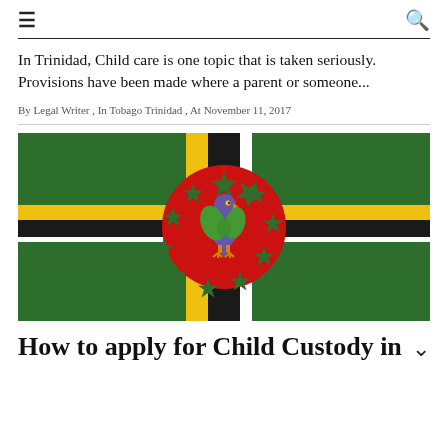≡  🔍
In Trinidad, Child care is one topic that is taken seriously. Provisions have been made where a parent or someone...
By Legal Writer , In Tobago Trinidad , At November 11, 2017
[Figure (illustration): Flag of Dominica — green background with a cross of yellow, black, and white stripes, and a red circle in the center containing a Sisserou parrot and ten green stars]
How to apply for Child Custody in